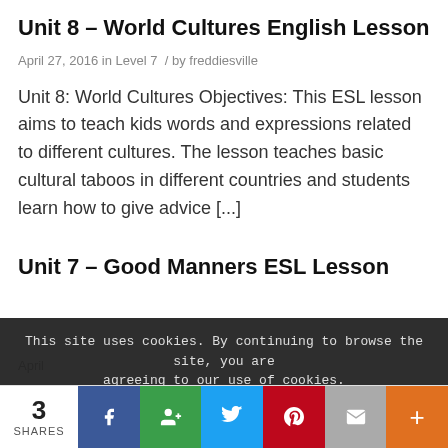Unit 8 – World Cultures English Lesson
April 27, 2016 in Level 7  /  by freddiesville
Unit 8: World Cultures Objectives: This ESL lesson aims to teach kids words and expressions related to different cultures. The lesson teaches basic cultural taboos in different countries and students learn how to give advice [...]
Unit 7 – Good Manners ESL Lesson
This site uses cookies. By continuing to browse the site, you are agreeing to our use of cookies.
3 SHARES  Facebook  Google+  Twitter  Pinterest  Email  More